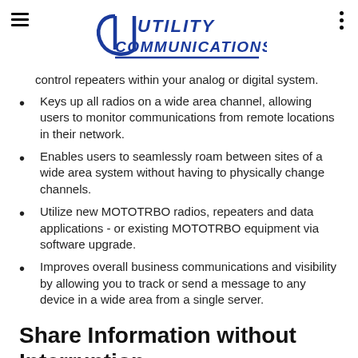Utility Communications, Inc.
control repeaters within your analog or digital system.
Keys up all radios on a wide area channel, allowing users to monitor communications from remote locations in their network.
Enables users to seamlessly roam between sites of a wide area system without having to physically change channels.
Utilize new MOTOTRBO radios, repeaters and data applications - or existing MOTOTRBO equipment via software upgrade.
Improves overall business communications and visibility by allowing you to track or send a message to any device in a wide area from a single server.
Share Information without Interruption